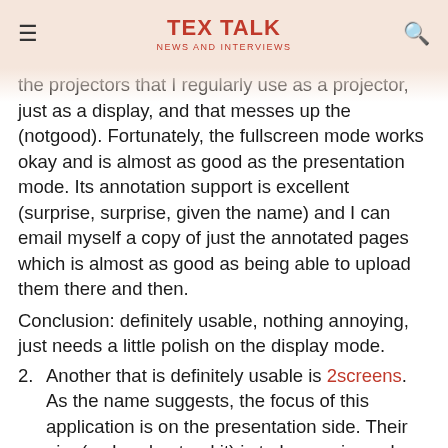TEX TALK
NEWS AND INTERVIEWS
the projectors that I regularly use as a projector, just as a display, and that messes up the (notgood). Fortunately, the fullscreen mode works okay and is almost as good as the presentation mode. Its annotation support is excellent (surprise, surprise, given the name) and I can email myself a copy of just the annotated pages which is almost as good as being able to upload them there and then.
Conclusion: definitely usable, nothing annoying, just needs a little polish on the display mode.
Another that is definitely usable is 2screens. As the name suggests, the focus of this application is on the presentation side. Their aim (as I understand it) is to be a universal presentation application. They certainly have made the presentation aspect very nice, with